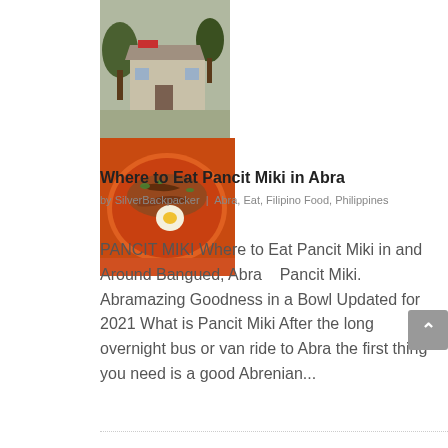[Figure (photo): Two side-by-side photos: left shows a small building/restaurant exterior with trees; right shows a bowl of Pancit Miki noodle dish with orange broth and toppings]
Where to Eat Pancit Miki in Abra
by SilverBackpacker | Abra, Eat, Filipino Food, Philippines
PANCIT MIKI Where to Eat Pancit Miki in and Around Bangued, Abra   Pancit Miki. Abramazing Goodness in a Bowl Updated for 2021 What is Pancit Miki After the long overnight bus or van ride to Abra the first thing you need is a good Abrenian...